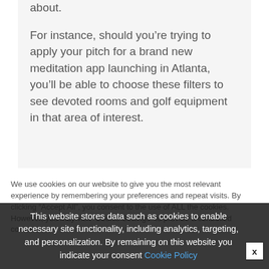about.
For instance, should you’re trying to apply your pitch for a brand new meditation app launching in Atlanta, you’ll be able to choose these filters to see devoted rooms and golf equipment in that area of interest.
We use cookies on our website to give you the most relevant experience by remembering your preferences and repeat visits. By clicking “Accept All”, you consent to the use of ALL the cookies. However, you may visit “Cookie Settings” to provide a controlled consent
This website stores data such as cookies to enable necessary site functionality, including analytics, targeting, and personalization. By remaining on this website you indicate your consent Cookie Policy